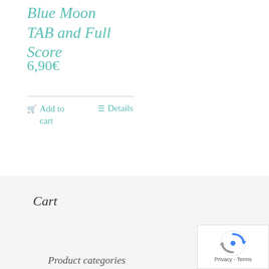Blue Moon TAB and Full Score
6,90€
Add to cart
Details
Cart
Product categories
[Figure (logo): reCAPTCHA Privacy - Terms badge]